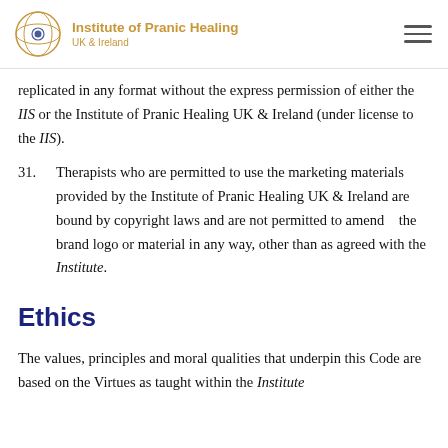Institute of Pranic Healing UK & Ireland
replicated in any format without the express permission of either the IIS or the Institute of Pranic Healing UK & Ireland (under license to the IIS).
31. Therapists who are permitted to use the marketing materials provided by the Institute of Pranic Healing UK & Ireland are bound by copyright laws and are not permitted to amend the brand logo or material in any way, other than as agreed with the Institute.
Ethics
The values, principles and moral qualities that underpin this Code are based on the Virtues as taught within the Institute of Pranic Healing. In the course of this document, the Pranic